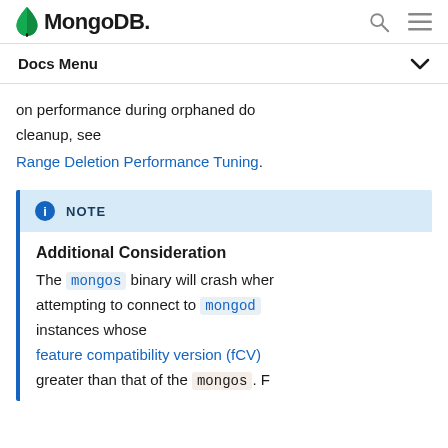MongoDB — Docs Menu
on performance during orphaned do cleanup, see Range Deletion Performance Tuning.
NOTE
Additional Consideration
The mongos binary will crash when attempting to connect to mongod instances whose feature compatibility version (fCV) greater than that of the mongos. F